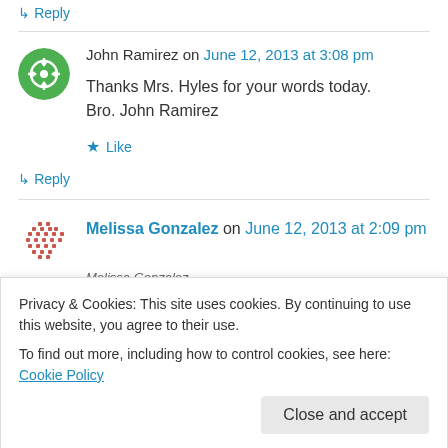↳ Reply
John Ramirez on June 12, 2013 at 3:08 pm
Thanks Mrs. Hyles for your words today.
Bro. John Ramirez
★ Like
↳ Reply
Melissa Gonzalez on June 12, 2013 at 2:09 pm
Privacy & Cookies: This site uses cookies. By continuing to use this website, you agree to their use.
To find out more, including how to control cookies, see here: Cookie Policy
Close and accept
Melissa Gonzalez